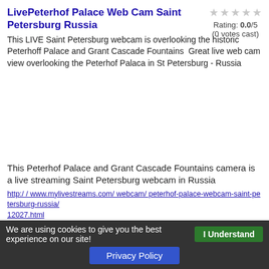LivePeterhof Palace Web Cam Saint Petersburg Russia
This LIVE Saint Petersburg webcam is overlooking the historic Peterhoff Palace and Grant Cascade Fountains  Great live web cam view overlooking the Peterhof Palaca in St Petersburg - Russia
Rating: 0.0/5
(0 votes cast)
This Peterhof Palace and Grant Cascade Fountains camera is a live streaming Saint Petersburg webcam in Russia
http://www.mylivestreams.com/webcam/peterhof-palace-webcam-saint-petersburg-russia/12027.html
<< Previous 200  121  122  123  124  125  126  127  128  129  130  131  132  133  134  135  136  137  138  139  140  Next 200 >>
We are using cookies to give you the best experience on our site!  I Understand
Privacy Policy